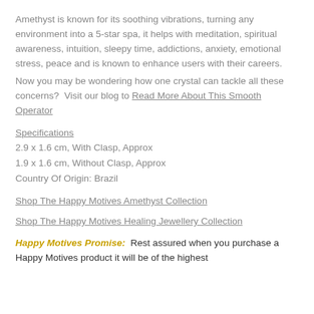Amethyst is known for its soothing vibrations, turning any environment into a 5-star spa, it helps with meditation, spiritual awareness, intuition, sleepy time, addictions, anxiety, emotional stress, peace and is known to enhance users with their careers.
Now you may be wondering how one crystal can tackle all these concerns?  Visit our blog to Read More About This Smooth Operator
Specifications
2.9 x 1.6 cm, With Clasp, Approx
1.9 x 1.6 cm, Without Clasp, Approx
Country Of Origin: Brazil
Shop The Happy Motives Amethyst Collection
Shop The Happy Motives Healing Jewellery Collection
Happy Motives Promise:  Rest assured when you purchase a Happy Motives product it will be of the highest